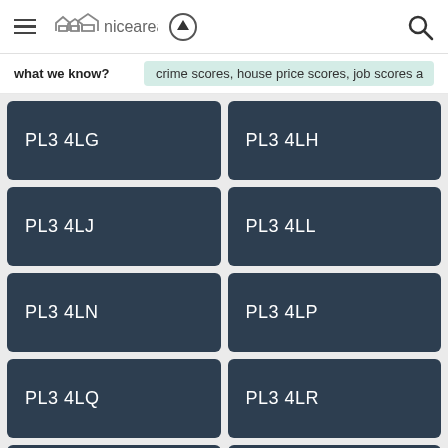niceareas — navigation header with logo, upload button, and search icon
what we know? crime scores, house price scores, job scores a…
PL3 4LG
PL3 4LH
PL3 4LJ
PL3 4LL
PL3 4LN
PL3 4LP
PL3 4LQ
PL3 4LR